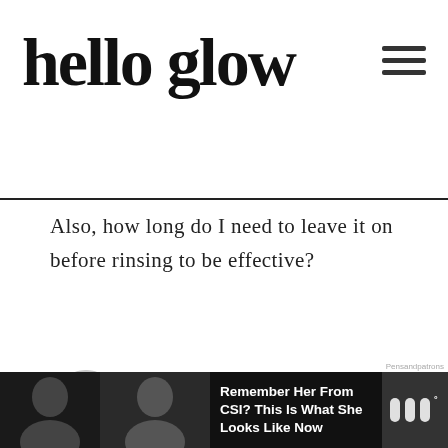hello glow
Also, how long do I need to leave it on before rinsing to be effective?
Reply
[Figure (photo): Avatar photo of Stephanie Gerber, circular grayscale portrait]
Stephanie Gerber says
February 6, 2015 at 8:10 am
Hi Laura – the scrub is meant to be
[Figure (photo): Advertisement bar at bottom: photos of a woman, text reading 'Remember Her From CSI? This Is What She Looks Like Now', and a logo on the right]